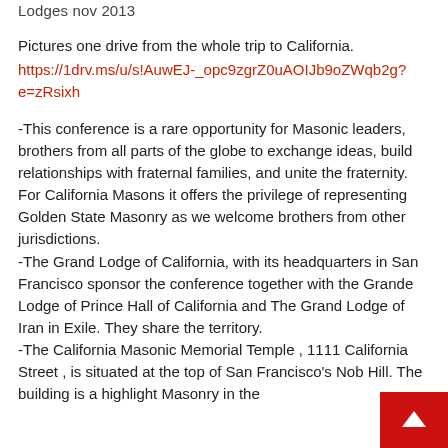Lodges nov 2013
Pictures one drive from the whole trip to California.
https://1drv.ms/u/s!AuwEJ-_opc9zgrZ0uAOIJb9oZWqb2g?e=zRsixh
-This conference is a rare opportunity for Masonic leaders, brothers from all parts of the globe to exchange ideas, build relationships with fraternal families, and unite the fraternity. For California Masons it offers the privilege of representing Golden State Masonry as we welcome brothers from other jurisdictions.
-The Grand Lodge of California, with its headquarters in San Francisco sponsor the conference together with the Grande Lodge of Prince Hall of California and The Grand Lodge of Iran in Exile. They share the territory.
-The California Masonic Memorial Temple , 1111 California Street , is situated at the top of San Francisco's Nob Hill. The building is a highlight Masonry in the